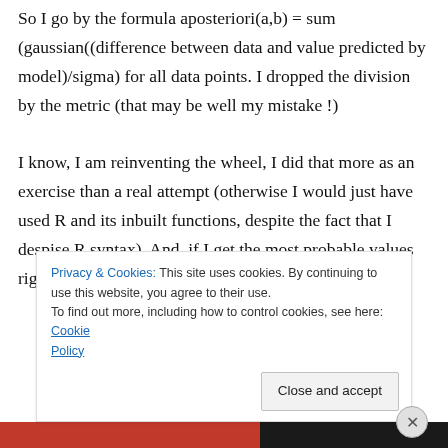So I go by the formula aposteriori(a,b) = sum (gaussian((difference between data and value predicted by model)/sigma) for all data points. I dropped the division by the metric (that may be well my mistake !)

I know, I am reinventing the wheel, I did that more as an exercise than a real attempt (otherwise I would just have used R and its inbuilt functions, despite the fact that I despise R syntax). And, if I get the most probable values right, the probability distribution is obviously
Privacy & Cookies: This site uses cookies. By continuing to use this website, you agree to their use.
To find out more, including how to control cookies, see here: Cookie Policy
Close and accept